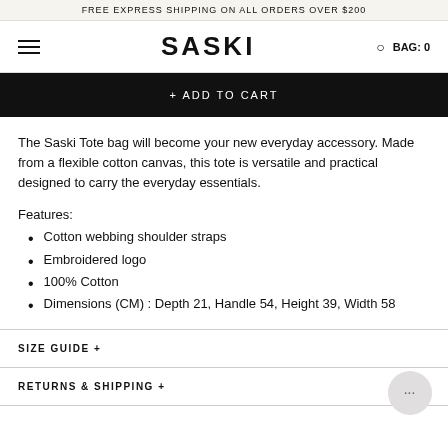FREE EXPRESS SHIPPING ON ALL ORDERS OVER $200
SASKI  BAG: 0
+ ADD TO CART
The Saski Tote bag will become your new everyday accessory. Made from a flexible cotton canvas, this tote is versatile and practical designed to carry the everyday essentials.
Features:
Cotton webbing shoulder straps
Embroidered logo
100% Cotton
Dimensions (CM) : Depth 21, Handle 54, Height 39, Width 58
SIZE GUIDE +
RETURNS & SHIPPING +